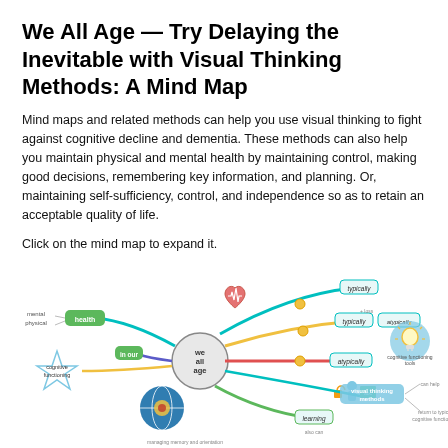We All Age — Try Delaying the Inevitable with Visual Thinking Methods: A Mind Map
Mind maps and related methods can help you use visual thinking to fight against cognitive decline and dementia. These methods can also help you maintain physical and mental health by maintaining control, making good decisions, remembering key information, and planning. Or, maintaining self-sufficiency, control, and independence so as to retain an acceptable quality of life.
Click on the mind map to expand it.
[Figure (infographic): A mind map centered on 'we all age' with branches showing health (physical, mental), cognitive functioning, 'in our' branch, and connections to 'typically', 'atypically', 'learning', 'visual thinking methods', and a lightbulb icon on the right. Colorful illustrated nodes with teal, yellow, red, blue, and green lines.]